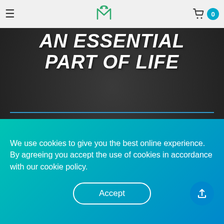Navigation bar with hamburger menu, logo, and cart (0 items)
AN ESSENTIAL PART OF LIFE
Support your body's ability to fight off pathogens*.
you eat to make metabolites*.
We use cookies to give you the best online experience. By agreeing you accept the use of cookies in accordance with our cookie policy.